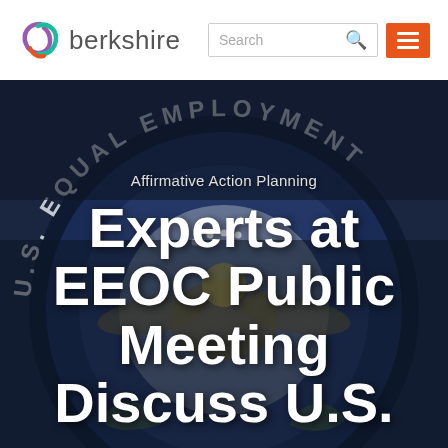[Figure (logo): Berkshire Associates logo with stylized icon and wordmark 'berkshire']
[Figure (screenshot): Search box with text 'Search' and magnifying glass icon, followed by orange hamburger menu icon]
[Figure (photo): Background photo of the EEOC (U.S. Equal Employment Opportunity Commission) seal/emblem, dark navy circular seal with eagle and stars, dimmed/dark overlay]
Affirmative Action Planning
Experts at EEOC Public Meeting Discuss U.S.